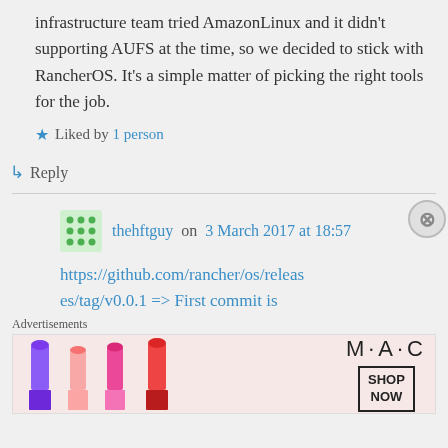infrastructure team tried AmazonLinux and it didn't supporting AUFS at the time, so we decided to stick with RancherOS. It's a simple matter of picking the right tools for the job.
Liked by 1 person
Reply
thehftguy on 3 March 2017 at 18:57
https://github.com/rancher/os/releases/tag/v0.0.1 => First commit is
Advertisements